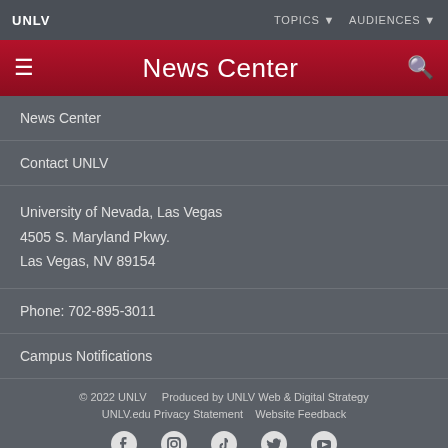UNLV | TOPICS | AUDIENCES
News Center
News Center
Contact UNLV
University of Nevada, Las Vegas
4505 S. Maryland Pkwy.
Las Vegas, NV 89154
Phone: 702-895-3011
Campus Notifications
© 2022 UNLV   Produced by UNLV Web & Digital Strategy
UNLV.edu Privacy Statement   Website Feedback